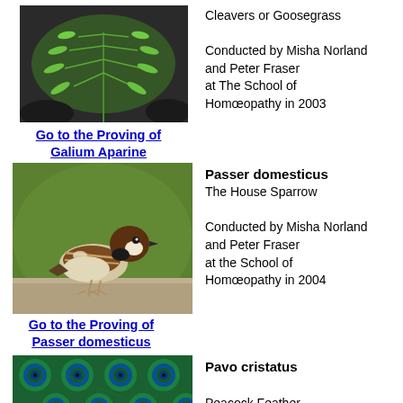[Figure (photo): Photo of Galium Aparine (Cleavers or Goosegrass) plant with green feathery leaves against dark rocks]
Cleavers or Goosegrass

Conducted by Misha Norland and Peter Fraser at The School of Homœopathy in 2003
Go to the Proving of Galium Aparine
[Figure (photo): Photo of a House Sparrow (Passer domesticus) perched on a stone surface]
Passer domesticus

The House Sparrow

Conducted by Misha Norland and Peter Fraser at the School of Homœopathy in 2004
Go to the Proving of Passer domesticus
[Figure (photo): Photo of Peacock feathers (Pavo cristatus) showing blue and green eye patterns]
Pavo cristatus

Peacock Feather